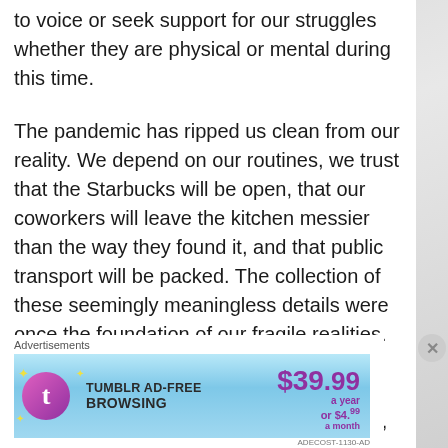to voice or seek support for our struggles whether they are physical or mental during this time.
The pandemic has ripped us clean from our reality. We depend on our routines, we trust that the Starbucks will be open, that our coworkers will leave the kitchen messier than the way they found it, and that public transport will be packed. The collection of these seemingly meaningless details were once the foundation of our fragile realities. We now free fall without knowing in which direction we are going or to where we will land. Children are homebound indefinitely, millions are unemployed and furloughed, and all of us are
[Figure (other): Tumblr Ad-Free Browsing advertisement banner. Shows Tumblr logo (pink/purple T in circle with stars), text 'TUMBLR AD-FREE BROWSING', price '$39.99 a year or $4.99 a month' in purple.]